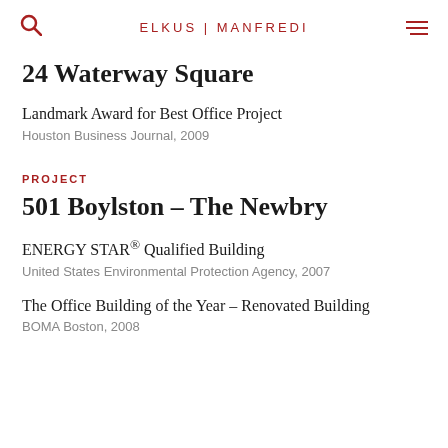ELKUS | MANFREDI
24 Waterway Square
Landmark Award for Best Office Project
Houston Business Journal, 2009
PROJECT
501 Boylston – The Newbry
ENERGY STAR® Qualified Building
United States Environmental Protection Agency, 2007
The Office Building of the Year – Renovated Building
BOMA Boston, 2008